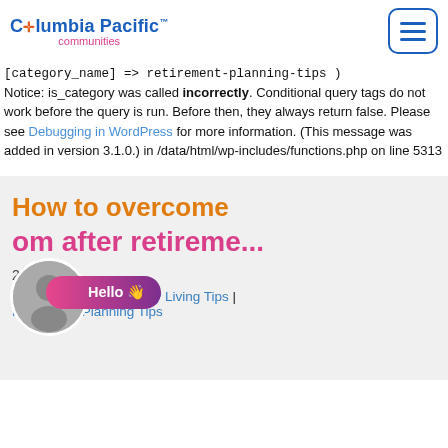Columbia Pacific™ communities
[category_name] => retirement-planning-tips )
Notice: is_category was called incorrectly. Conditional query tags do not work before the query is run. Before then, they always return false. Please see Debugging in WordPress for more information. (This message was added in version 3.1.0.) in /data/html/wp-includes/functions.php on line 5313
How to overcome om after retireme...
2022
Categories : Community Living Tips | Retirement Planning Tips